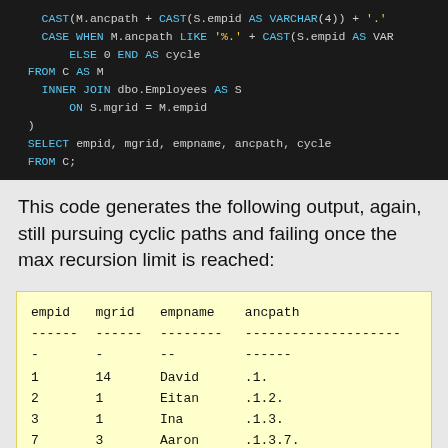[Figure (screenshot): SQL code block on dark background showing CAST, CASE WHEN, FROM C AS M, INNER JOIN, ON, SELECT and FROM C; statements with syntax highlighting]
This code generates the following output, again, still pursuing cyclic paths and failing once the max recursion limit is reached:
| empid | mgrid | empname | ancpath |
| --- | --- | --- | --- |
| 1 | 14 | David | .1. |
| 2 | 1 | Eitan | .1.2. |
| 3 | 1 | Ina | .1.3. |
| 7 | 3 | Aaron | .1.3.7. |
| 9 | 7 | Rita | .1.3.7.9. |
| 11 | 7 | Gabriel | .1.3.7.11. |
| 12 | 9 | Emilia | .1.3.7.9.12. |